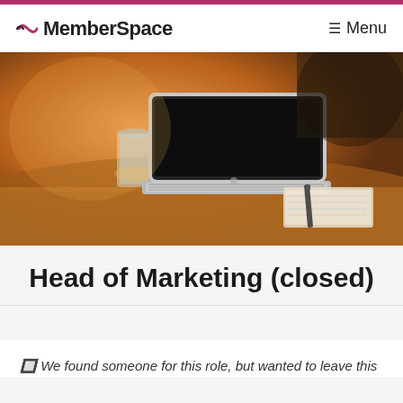MemberSpace   ☰ Menu
[Figure (photo): A laptop computer open on a wooden table with a glass of water and a notebook with a pen in the background, warm bokeh lighting.]
Head of Marketing (closed)
🔲 We found someone for this role, but wanted to leave this page up as they found it helpful to see what a...